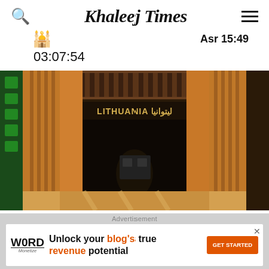Khaleej Times
Asr 15:49
03:07:54
[Figure (photo): Entrance to the Lithuania pavilion with wooden architecture, showing sign reading 'LITHUANIA ليتوانيا']
Lithuania to focus on the latest technologies, circular economy, renewable energy, and other modern solutions. — Supplied photo
Advertisement
[Figure (other): Advertisement banner: Word Monetize logo with text 'Unlock your blog's true revenue potential' and 'GET STARTED' button]